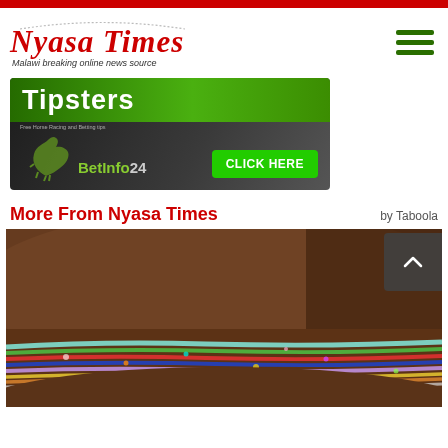[Figure (logo): Nyasa Times logo with red gothic text and tagline 'Malawi breaking online news source']
[Figure (photo): BetInfo24 Tipsters advertisement banner with green strip header, horse silhouette, and 'CLICK HERE' button]
More From Nyasa Times
by Taboola
[Figure (photo): Close-up photo of colorful beaded waist jewelry on dark skin]